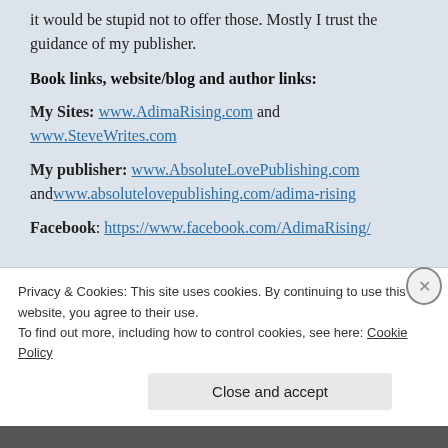it would be stupid not to offer those. Mostly I trust the guidance of my publisher.
Book links, website/blog and author links:
My Sites: www.AdimaRising.com and www.SteveWrites.com
My publisher: www.AbsoluteLovePublishing.com and www.absolutelovepublishing.com/adima-rising
Facebook: https://www.facebook.com/AdimaRising/
Privacy & Cookies: This site uses cookies. By continuing to use this website, you agree to their use.
To find out more, including how to control cookies, see here: Cookie Policy
Close and accept